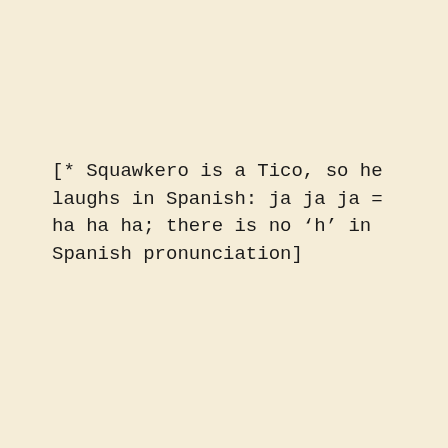[* Squawkero is a Tico, so he laughs in Spanish: ja ja ja = ha ha ha; there is no ‘h’ in Spanish pronunciation]